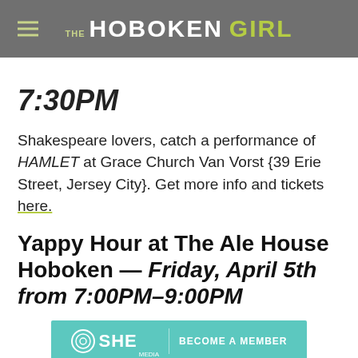THE HOBOKEN GIRL
7:30PM
Shakespeare lovers, catch a performance of HAMLET at Grace Church Van Vorst {39 Erie Street, Jersey City}. Get more info and tickets here.
Yappy Hour at The Ale House Hoboken — Friday, April 5th from 7:00PM–9:00PM
[Figure (logo): SHE Media banner with 'BECOME A MEMBER' text on teal background]